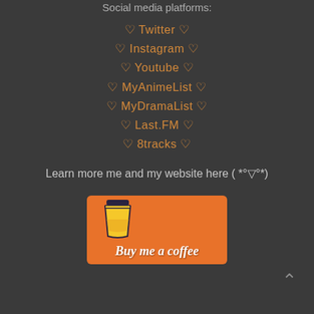Social media platforms:
♡ Twitter ♡
♡ Instagram ♡
♡ Youtube ♡
♡ MyAnimeList ♡
♡ MyDramaList ♡
♡ Last.FM ♡
♡ 8tracks ♡
Learn more me and my website here (  *°▽°*)
[Figure (illustration): Orange 'Buy me a coffee' button with a coffee cup icon and white italic text reading 'Buy me a coffee']